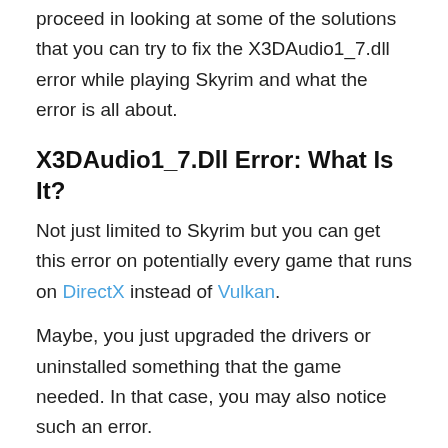proceed in looking at some of the solutions that you can try to fix the X3DAudio1_7.dll error while playing Skyrim and what the error is all about.
X3DAudio1_7.Dll Error: What Is It?
Not just limited to Skyrim but you can get this error on potentially every game that runs on DirectX instead of Vulkan.
Maybe, you just upgraded the drivers or uninstalled something that the game needed. In that case, you may also notice such an error.
It is mostly caused to due to some DirectX runtime